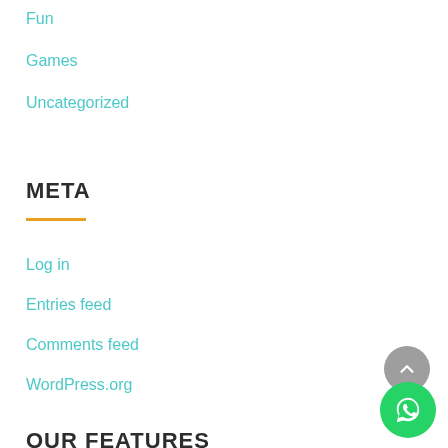Fun
Games
Uncategorized
META
Log in
Entries feed
Comments feed
WordPress.org
OUR FEATURES